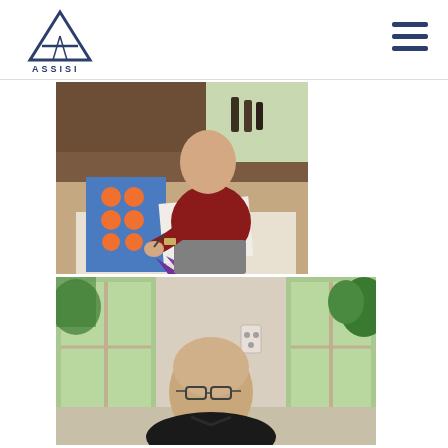ASSISI
[Figure (photo): Elderly man in a dark red polo shirt seated at a table, working on an art/craft activity with orange circular shapes on blue paper. A purple star shape is visible in the foreground on the table.]
[Figure (photo): Bald man in a black shirt seated and leaning forward, photographed from above, with windows and greenery visible in the background.]